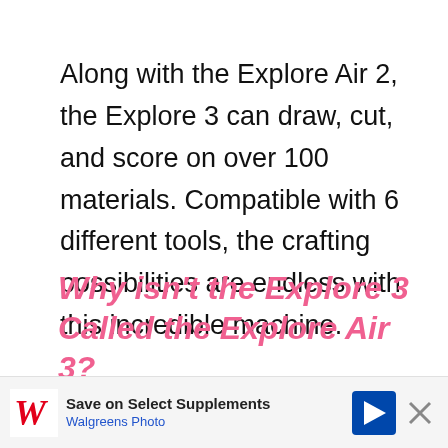Along with the Explore Air 2, the Explore 3 can draw, cut, and score on over 100 materials. Compatible with 6 different tools, the crafting possibilities are endless with this incredible machine.
Why isn't the Explore 3 Called the Explore Air 3?
Cricut decided to not include the Air in the ne… wi… its… ure
[Figure (other): Walgreens Photo advertisement banner: 'Save on Select Supplements' with Walgreens logo, navigation arrow icon, and close button]